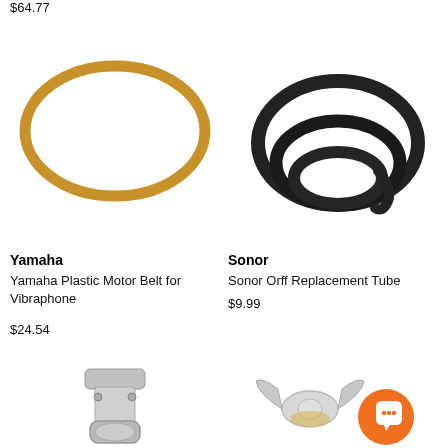$64.77
[Figure (photo): Yamaha plastic motor belt for vibraphone — a tan/golden rubber O-ring loop on white background]
[Figure (photo): Sonor Orff replacement tube — coiled black rope/cord on white background]
Yamaha
Yamaha Plastic Motor Belt for Vibraphone
$24.54
Sonor
Sonor Orff Replacement Tube
$9.99
[Figure (photo): Chrome metal drum lug/tension rod hardware component — partial view at bottom of page]
[Figure (photo): Silver wing nut hardware with orange chat support button overlaid in bottom-right corner]